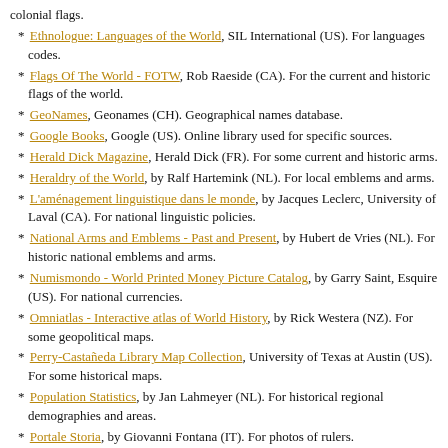colonial flags.
Ethnologue: Languages of the World, SIL International (US). For languages codes.
Flags Of The World - FOTW, Rob Raeside (CA). For the current and historic flags of the world.
GeoNames, Geonames (CH). Geographical names database.
Google Books, Google (US). Online library used for specific sources.
Herald Dick Magazine, Herald Dick (FR). For some current and historic arms.
Heraldry of the World, by Ralf Hartemink (NL). For local emblems and arms.
L'aménagement linguistique dans le monde, by Jacques Leclerc, University of Laval (CA). For national linguistic policies.
National Arms and Emblems - Past and Present, by Hubert de Vries (NL). For historic national emblems and arms.
Numismondo - World Printed Money Picture Catalog, by Garry Saint, Esquire (US). For national currencies.
Omniatlas - Interactive atlas of World History, by Rick Westera (NZ). For some geopolitical maps.
Perry-Castañeda Library Map Collection, University of Texas at Austin (US). For some historical maps.
Population Statistics, by Jan Lahmeyer (NL). For historical regional demographies and areas.
Portale Storia, by Giovanni Fontana (IT). For photos of rulers.
ReliefWeb, by the United Nations Office for the Coordination of Humanitarian Affairs (OCHA). For maps of some administrative divisions.
Rulers.org, by Benjamin Schemmel (DE). For photos of rulers.